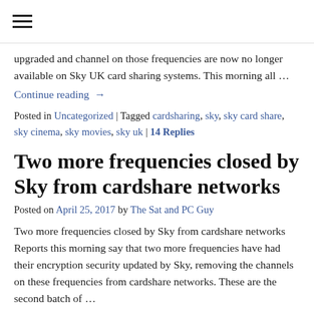≡
upgraded and channel on those frequencies are now no longer available on Sky UK card sharing systems. This morning all …
Continue reading →
Posted in Uncategorized | Tagged cardsharing, sky, sky card share, sky cinema, sky movies, sky uk | 14 Replies
Two more frequencies closed by Sky from cardshare networks
Posted on April 25, 2017 by The Sat and PC Guy
Two more frequencies closed by Sky from cardshare networks Reports this morning say that two more frequencies have had their encryption security updated by Sky, removing the channels on these frequencies from cardshare networks. These are the second batch of …
Continue reading →